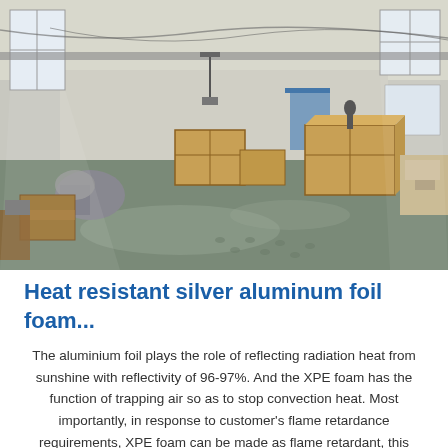[Figure (photo): Interior of an industrial warehouse with wooden crates, machinery, and equipment on a green concrete floor, with large windows letting in natural light.]
Heat resistant silver aluminum foil foam...
The aluminium foil plays the role of reflecting radiation heat from sunshine with reflectivity of 96-97%. And the XPE foam has the function of trapping air so as to stop convection heat. Most importantly, in response to customer's flame retardance requirements, XPE foam can be made as flame retardant, this